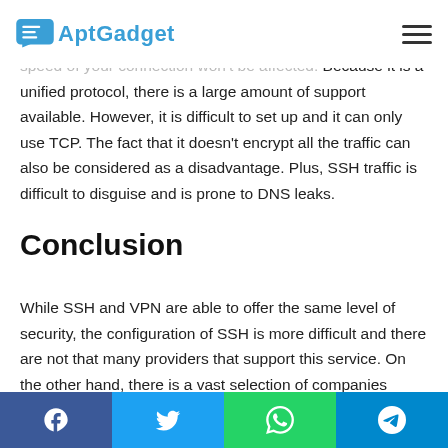AptGadget
Overall, SSH is an affordable option to give multiple access to a server, but it doesn't encrypt all your traffic, so the speed of your connection won't be affected. Because it is a unified protocol, there is a large amount of support available. However, it is difficult to set up and it can only use TCP. The fact that it doesn't encrypt all the traffic can also be considered as a disadvantage. Plus, SSH traffic is difficult to disguise and is prone to DNS leaks.
Conclusion
While SSH and VPN are able to offer the same level of security, the configuration of SSH is more difficult and there are not that many providers that support this service. On the other hand, there is a vast selection of companies offering VPN services and since it encrypts all your traffic and it is easy to use, it is the better option.
Facebook Twitter WhatsApp Telegram